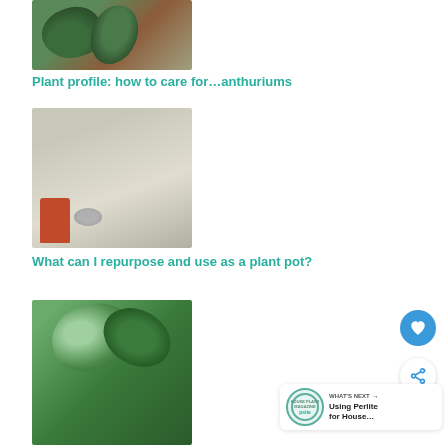[Figure (photo): Close-up photo of anthurium plant with large dark leaves in a pot]
Plant profile: how to care for…anthuriums
[Figure (photo): Plant in red pot on outdoor table with silver metallic bowl/ashtray]
What can I repurpose and use as a plant pot?
[Figure (photo): Close-up of large green tropical leaves]
WHAT'S NEXT → Using Perlite for House…